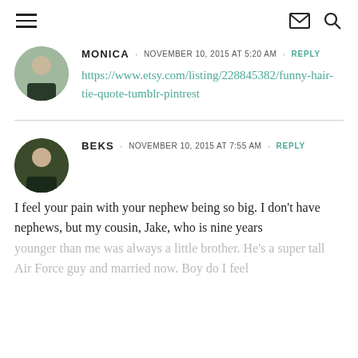Navigation bar with hamburger menu, mail icon, and search icon
MONICA · NOVEMBER 10, 2015 AT 5:20 AM · REPLY
https://www.etsy.com/listing/228845382/funny-hair-tie-quote-tumblr-pintrest
BEKS · NOVEMBER 10, 2015 AT 7:55 AM · REPLY
I feel your pain with your nephew being so big. I don't have nephews, but my cousin, Jake, who is nine years younger than me was always a little brother. He's a super tall Air Force guy and married now. Boy do I feel